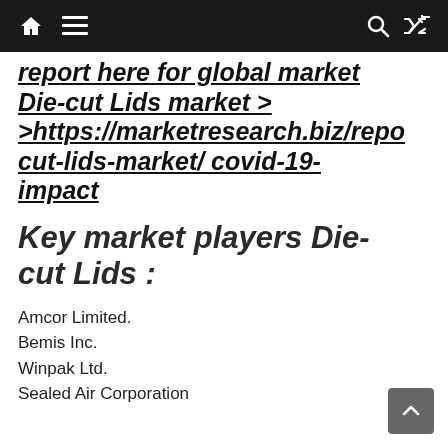Navigation bar with home, menu, search, and shuffle icons
report here for global market Die-cut Lids market > >https://marketresearch.biz/repo cut-lids-market/ covid-19-impact
Key market players Die-cut Lids :
Amcor Limited.
Bemis Inc.
Winpak Ltd.
Sealed Air Corporation